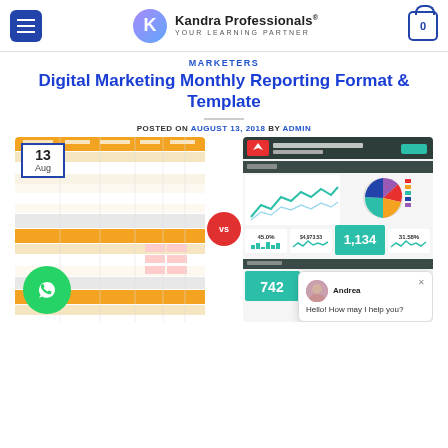Kandra Professionals® YOUR LEARNING PARTNER
MARKETERS
Digital Marketing Monthly Reporting Format & Template
POSTED ON AUGUST 13, 2018 BY ADMIN
[Figure (screenshot): Screenshot of a digital marketing spreadsheet report template with orange headers and data tables]
[Figure (screenshot): Screenshot of a digital marketing performance report dashboard showing charts including line chart, pie chart, bar chart, and KPI metrics like 45.0%, $4,973.53, 1,134, 31.58%, 742]